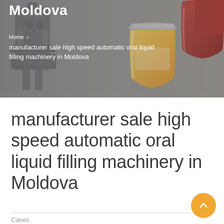[Figure (photo): Hero banner with industrial filling machinery on the left and glass jars with honey/jam on the right, overlaid with a semi-transparent grey gradient]
Moldova
Home › manufacturer sale high speed automatic oral liquid filling machinery in Moldova
manufacturer sale high speed automatic oral liquid filling machinery in Moldova
Cases